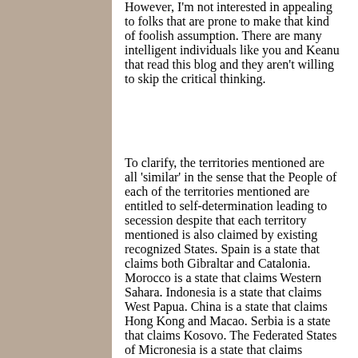However, I'm not interested in appealing to folks that are prone to make that kind of foolish assumption. There are many intelligent individuals like you and Keanu that read this blog and they aren't willing to skip the critical thinking.
To clarify, the territories mentioned are all 'similar' in the sense that the People of each of the territories mentioned are entitled to self-determination leading to secession despite that each territory mentioned is also claimed by existing recognized States. Spain is a state that claims both Gibraltar and Catalonia. Morocco is a state that claims Western Sahara. Indonesia is a state that claims West Papua. China is a state that claims Hong Kong and Macao. Serbia is a state that claims Kosovo. The Federated States of Micronesia is a state that claims Chuuk. Papua New Guinea is a state that claims